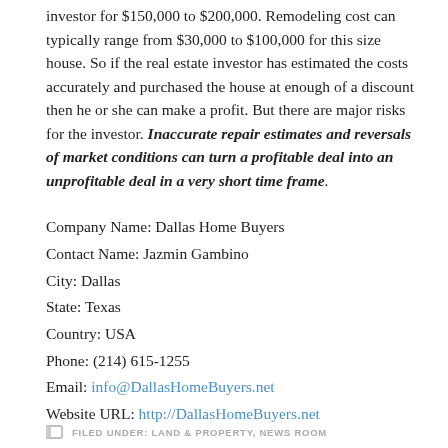investor for $150,000 to $200,000. Remodeling cost can typically range from $30,000 to $100,000 for this size house. So if the real estate investor has estimated the costs accurately and purchased the house at enough of a discount then he or she can make a profit. But there are major risks for the investor. Inaccurate repair estimates and reversals of market conditions can turn a profitable deal into an unprofitable deal in a very short time frame.
Company Name: Dallas Home Buyers
Contact Name: Jazmin Gambino
City: Dallas
State: Texas
Country: USA
Phone: (214) 615-1255
Email: info@DallasHomeBuyers.net
Website URL: http://DallasHomeBuyers.net
FILED UNDER: LAND & PROPERTY, NEWS ROOM